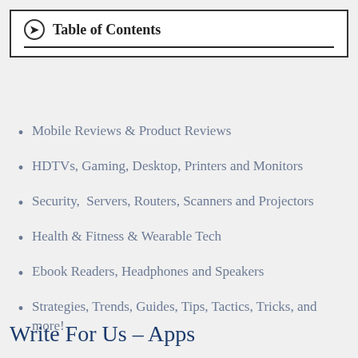Table of Contents
Mobile Reviews & Product Reviews
HDTVs, Gaming, Desktop, Printers and Monitors
Security,  Servers, Routers, Scanners and Projectors
Health & Fitness & Wearable Tech
Ebook Readers, Headphones and Speakers
Strategies, Trends, Guides, Tips, Tactics, Tricks, and more!
Write For Us – Apps